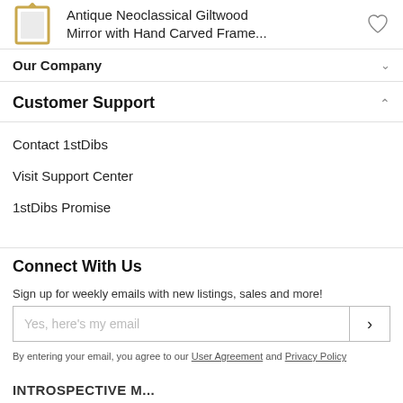Antique Neoclassical Giltwood Mirror with Hand Carved Frame...
Our Company
Customer Support
Contact 1stDibs
Visit Support Center
1stDibs Promise
Connect With Us
Sign up for weekly emails with new listings, sales and more!
By entering your email, you agree to our User Agreement and Privacy Policy
INTROSPECTIVE M...